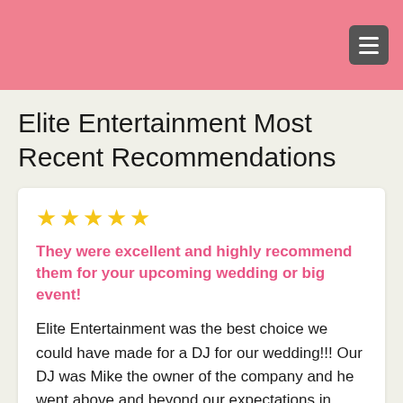Elite Entertainment Most Recent Recommendations
★★★★★
They were excellent and highly recommend them for your upcoming wedding or big event!
Elite Entertainment was the best choice we could have made for a DJ for our wedding!!! Our DJ was Mike the owner of the company and he went above and beyond our expectations in providing my husband and I an amazing night to remember. Mike was very